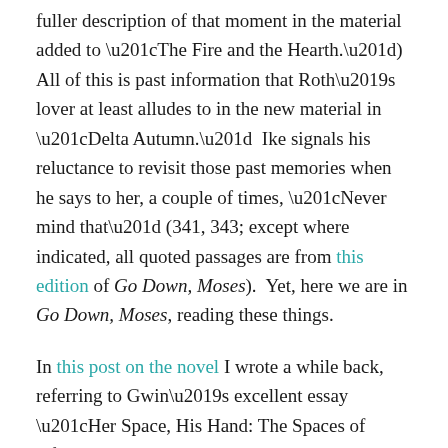fuller description of that moment in the material added to “The Fire and the Hearth.”)  All of this is past information that Roth’s lover at least alludes to in the new material in “Delta Autumn.”  Ike signals his reluctance to revisit those past memories when he says to her, a couple of times, “Never mind that” (341, 343; except where indicated, all quoted passages are from this edition of Go Down, Moses).  Yet, here we are in Go Down, Moses, reading these things.
In this post on the novel I wrote a while back, referring to Gwin’s excellent essay “Her Space, His Hand: The Spaces of African American Women in Go Down, Moses” (found here), “Faulkner is not completely in control of the forces created by certain of his black characters’ narratives as they push against the confines of the world in which they find themselves.”  I think this is